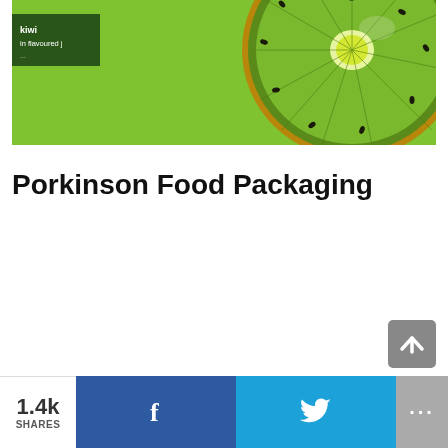[Figure (photo): Photo of a sliced kiwi fruit on a green background, with a dark green product label/tag visible in the upper left corner with text 'in flavoured j...']
Porkinson Food Packaging
[Figure (other): Back to top arrow button (grey rounded square with upward arrow)]
1.4k SHARES  [Facebook share button]  [Twitter share button]  [More ...]